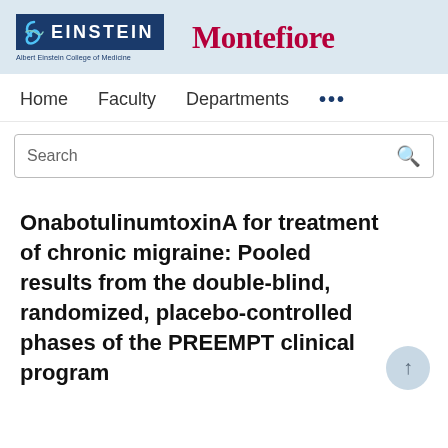[Figure (logo): Einstein (Albert Einstein College of Medicine) and Montefiore institutional logos side by side on a light blue background]
Home   Faculty   Departments   ...
Search
OnabotulinumtoxinA for treatment of chronic migraine: Pooled results from the double-blind, randomized, placebo-controlled phases of the PREEMPT clinical program